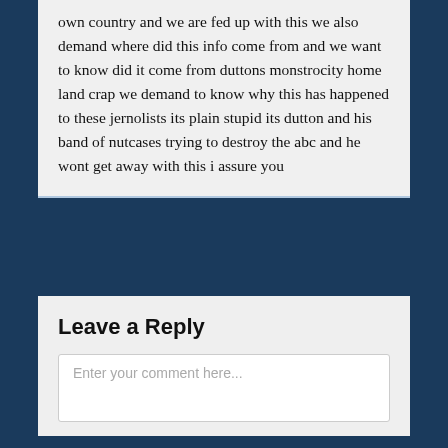own country and we are fed up with this we also demand where did this info come from and we want to know did it come from duttons monstrocity home land crap we demand to know why this has happened to these jernolists its plain stupid its dutton and his band of nutcases trying to destroy the abc and he wont get away with this i assure you
Leave a Reply
Enter your comment here...